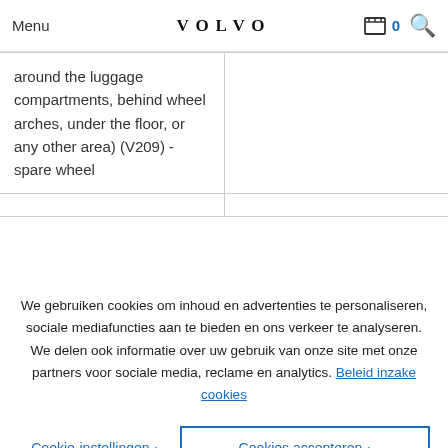Menu | VOLVO | 0 [search]
|  |  |
| --- | --- |
| around the luggage compartments, behind wheel arches, under the floor, or any other area) (V209) - spare wheel |  |
|  |  |
We gebruiken cookies om inhoud en advertenties te personaliseren, sociale mediafuncties aan te bieden en ons verkeer te analyseren. We delen ook informatie over uw gebruik van onze site met onze partners voor sociale media, reclame en analytics. Beleid inzake cookies
Cookie-instellingen >
Cookies accepteren >